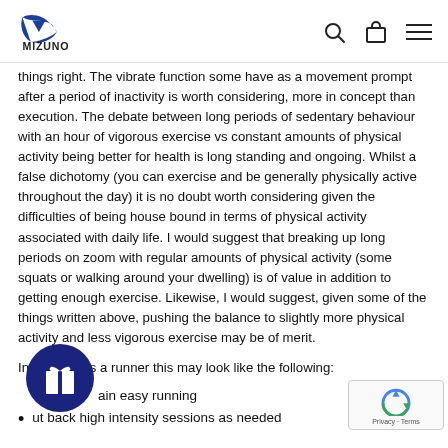Mizuno logo, search icon, bag icon, menu icon
things right. The vibrate function some have as a movement prompt after a period of inactivity is worth considering, more in concept than execution. The debate between long periods of sedentary behaviour with an hour of vigorous exercise vs constant amounts of physical activity being better for health is long standing and ongoing. Whilst a false dichotomy (you can exercise and be generally physically active throughout the day) it is no doubt worth considering given the difficulties of being house bound in terms of physical activity associated with daily life. I would suggest that breaking up long periods on zoom with regular amounts of physical activity (some squats or walking around your dwelling) is of value in addition to getting enough exercise. Likewise, I would suggest, given some of the things written above, pushing the balance to slightly more physical activity and less vigorous exercise may be of merit.
In practice as a runner this may look like the following:
Maintain easy running
Cut back high intensity sessions as needed